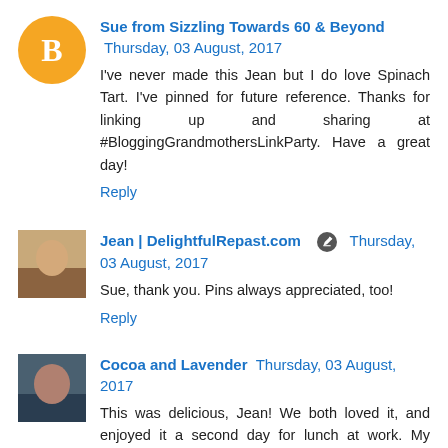Sue from Sizzling Towards 60 & Beyond  Thursday, 03 August, 2017
I've never made this Jean but I do love Spinach Tart. I've pinned for future reference. Thanks for linking up and sharing at #BloggingGrandmothersLinkParty. Have a great day!
Reply
Jean | DelightfulRepast.com  Thursday, 03 August, 2017
Sue, thank you. Pins always appreciated, too!
Reply
Cocoa and Lavender  Thursday, 03 August, 2017
This was delicious, Jean! We both loved it, and enjoyed it a second day for lunch at work. My pastry was definitely not as good as yours - I will have to try again! I think I somehow added too much liquid... We will be adding this to